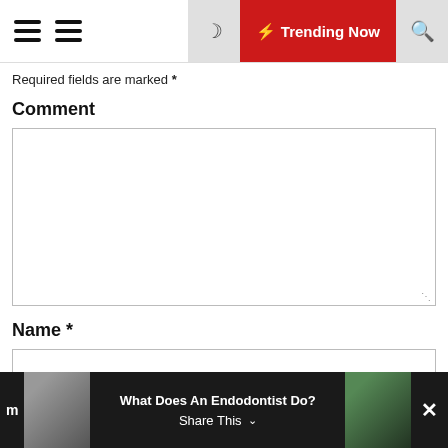Trending Now
Required fields are marked *
Comment
Name *
What Does An Endodontist Do? Share This